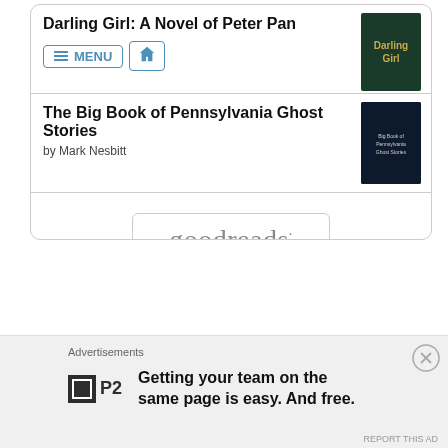Darling Girl: A Novel of Peter Pan
[Figure (screenshot): Menu button with hamburger icon and MENU text, and home icon button]
[Figure (illustration): Book cover for Darling Girl with dark green background and gold text]
The Big Book of Pennsylvania Ghost Stories
by Mark Nesbitt
[Figure (illustration): Book cover for The Big Book of Pennsylvania Ghost Stories with dark blue cover]
[Figure (logo): goodreads logo in rounded rectangle box]
Advertisements
[Figure (logo): P2 logo - dark square with inner square border and P2 text]
Getting your team on the same page is easy. And free.